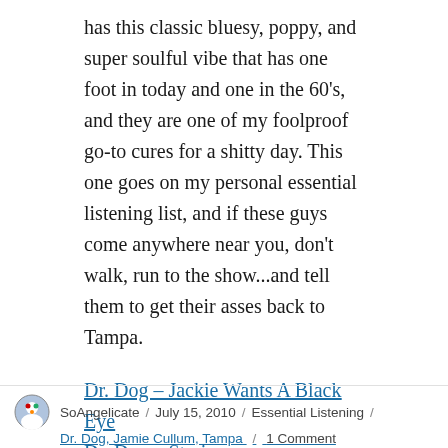has this classic bluesy, poppy, and super soulful vibe that has one foot in today and one in the 60's, and they are one of my foolproof go-to cures for a shitty day. This one goes on my personal essential listening list, and if these guys come anywhere near you, don't walk, run to the show...and tell them to get their asses back to Tampa.
Dr. Dog – Jackie Wants A Black Eye
Dr. Dog – Strainger
Dr. Dog's Official Site, Dr. Dog on myspace, Buy Shame, Shame
SoAngelicate / July 15, 2010 / Essential Listening / Dr. Dog, Jamie Cullum, Tampa / 1 Comment